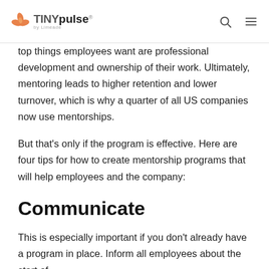TINYpulse by Limeade
top things employees want are professional development and ownership of their work. Ultimately, mentoring leads to higher retention and lower turnover, which is why a quarter of all US companies now use mentorships.
But that's only if the program is effective. Here are four tips for how to create mentorship programs that will help employees and the company:
Communicate
This is especially important if you don't already have a program in place. Inform all employees about the start of